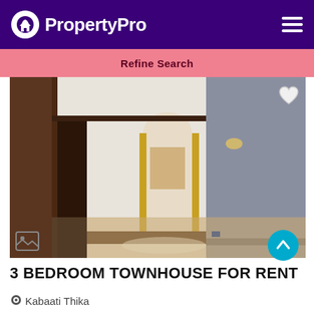PropertyPro
Refine Search
[Figure (photo): Interior photo of an empty spacious living room with white walls, arched doorway, ceiling fan, marble-like tiled floor, and a grey accent wall on the right side.]
3 BEDROOM TOWNHOUSE FOR RENT
Kabaati Thika